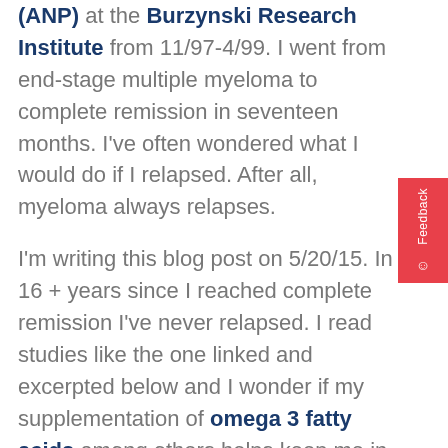(ANP) at the Burzynski Research Institute from 11/97-4/99. I went from end-stage multiple myeloma to complete remission in seventeen months. I've often wondered what I would do if I relapsed. After all, myeloma always relapses.

I'm writing this blog post on 5/20/15. In 16 + years since I reached complete remission I've never relapsed. I read studies like the one linked and excerpted below and I wonder if my supplementation of omega 3 fatty acids among others helps keep me in complete